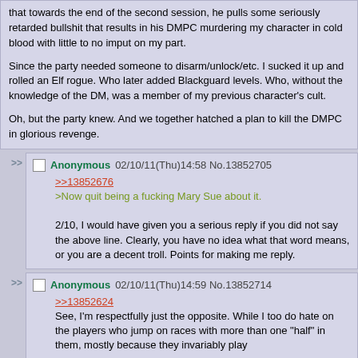that towards the end of the second session, he pulls some seriously retarded bullshit that results in his DMPC murdering my character in cold blood with little to no imput on my part.

Since the party needed someone to disarm/unlock/etc. I sucked it up and rolled an Elf rogue. Who later added Blackguard levels. Who, without the knowledge of the DM, was a member of my previous character's cult.

Oh, but the party knew. And we together hatched a plan to kill the DMPC in glorious revenge.
Anonymous 02/10/11(Thu)14:58 No.13852705
>>13852676
>Now quit being a fucking Mary Sue about it.
2/10, I would have given you a serious reply if you did not say the above line. Clearly, you have no idea what that word means, or you are a decent troll. Points for making me reply.
Anonymous 02/10/11(Thu)14:59 No.13852714
>>13852624
See, I'm respectfully just the opposite. While I too do hate on the players who jump on races with more than one "half" in them, mostly because they invariably play